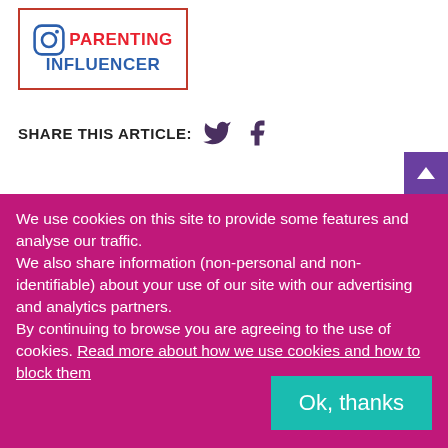[Figure (logo): Instagram Parenting Influencer badge logo with red border, Instagram icon, red PARENTING text and blue INFLUENCER text]
SHARE THIS ARTICLE:
[Figure (infographic): Twitter bird icon and Facebook f icon for social sharing]
We use cookies on this site to provide some features and analyse our traffic.
We also share information (non-personal and non-identifiable) about your use of our site with our advertising and analytics partners.
By continuing to browse you are agreeing to the use of cookies. Read more about how we use cookies and how to block them
Ok, thanks